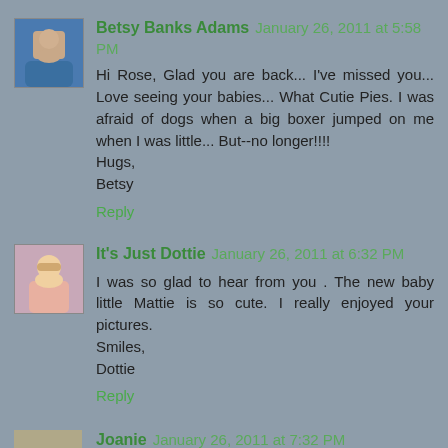Betsy Banks Adams January 26, 2011 at 5:58 PM
Hi Rose, Glad you are back... I've missed you... Love seeing your babies... What Cutie Pies. I was afraid of dogs when a big boxer jumped on me when I was little... But--no longer!!!!
Hugs,
Betsy
Reply
It's Just Dottie January 26, 2011 at 6:32 PM
I was so glad to hear from you . The new baby little Mattie is so cute. I really enjoyed your pictures.
Smiles,
Dottie
Reply
Joanie January 26, 2011 at 7:32 PM